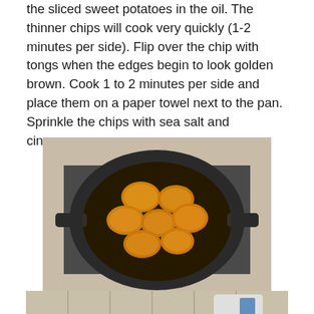the sliced sweet potatoes in the oil. The thinner chips will cook very quickly (1-2 minutes per side). Flip over the chip with tongs when the edges begin to look golden brown. Cook 1 to 2 minutes per side and place them on a paper towel next to the pan. Sprinkle the chips with sea salt and cinnamon.
[Figure (photo): A cast iron skillet on a stove top with golden-brown fried sweet potato chips cooking in oil, viewed from above.]
[Figure (photo): Cooked sweet potato chips placed on a paper towel, with a spatula and a cup visible in the background on a tiled counter.]